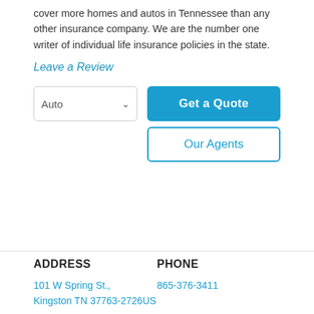cover more homes and autos in Tennessee than any other insurance company. We are the number one writer of individual life insurance policies in the state.
Leave a Review
Auto
Get a Quote
Our Agents
ADDRESS
PHONE
101 W Spring St.,
Kingston TN 37763-2726US
865-376-3411